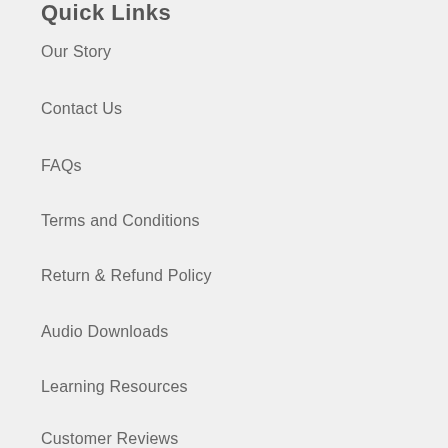QUICK LINKS
Our Story
Contact Us
FAQs
Terms and Conditions
Return & Refund Policy
Audio Downloads
Learning Resources
Customer Reviews